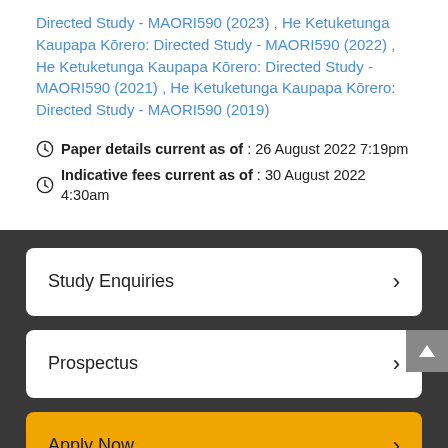Directed Study - MAORI590 (2023) , He Ketuketunga Kaupapa Kōrero: Directed Study - MAORI590 (2022) , He Ketuketunga Kaupapa Kōrero: Directed Study - MAORI590 (2021) , He Ketuketunga Kaupapa Kōrero: Directed Study - MAORI590 (2019)
Paper details current as of : 26 August 2022 7:19pm
Indicative fees current as of : 30 August 2022 4:30am
Study Enquiries
Prospectus
Apply Now